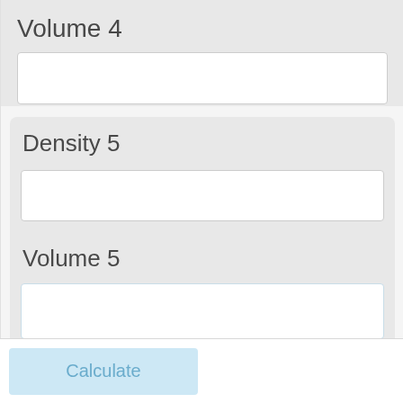Volume 4
[Figure (screenshot): Empty white input text field for Volume 4]
Density 5
[Figure (screenshot): Empty white input text field for Density 5]
Volume 5
[Figure (screenshot): Empty white input text field for Volume 5]
Calculate